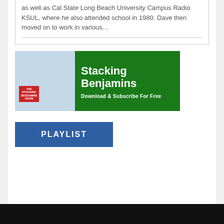as well as Cal State Long Beach University Campus Radio KSUL, where he also attended school in 1980. Dave then moved on to work in various…
[Figure (infographic): Stacking Benjamins podcast advertisement banner. Left side shows two people posing with a brown paper bag over one person's head, with a red 'The Stacking Benjamins Show' logo overlay. Right side has a green background with white bold text reading 'Stacking Benjamins' and 'Download & Subscribe For Free'.]
PLAYLIST